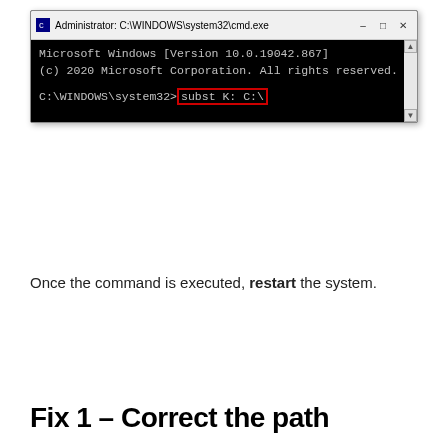[Figure (screenshot): Windows Command Prompt window titled 'Administrator: C:\WINDOWS\system32\cmd.exe' showing Microsoft Windows Version 10.0.19042.867, copyright line, and command 'subst K: C:\' highlighted with red border at the prompt C:\WINDOWS\system32>]
Once the command is executed, restart the system.
Fix 1 – Correct the path